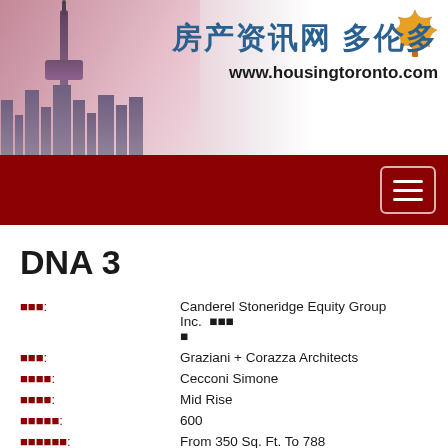[Figure (screenshot): Header banner with Toronto skyline photo on the left and Chinese real estate website branding on the right: 房产资讯网 多伦多, www.housingtoronto.com, with a maple leaf logo]
DNA 3
| Label | Value |
| --- | --- |
| 开发商: | Canderel Stoneridge Equity Group Inc. 更多 |
| 建筑师: | Graziani + Corazza Architects |
| 室内设计: | Cecconi Simone |
| 建筑类型: | Mid Rise |
| 总套数: | 600 |
| 面积范围: | From 350 Sq. Ft. To 788 Sq. Ft. |
| 楼层数: | 14 storeys |
| 交房时间: | Winter/Spring 2013 |
| 维护费: | 0.60 Per Square Foot |